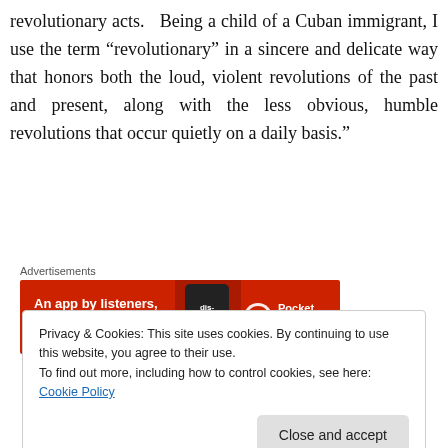revolutionary acts. Being a child of a Cuban immigrant, I use the term “revolutionary” in a sincere and delicate way that honors both the loud, violent revolutions of the past and present, along with the less obvious, humble revolutions that occur quietly on a daily basis.”
[Figure (other): Pocket Casts advertisement banner: red background with text 'An app by listeners, for listeners.' and Pocket Casts logo with a phone image showing 'distributed']
Privacy & Cookies: This site uses cookies. By continuing to use this website, you agree to their use.
To find out more, including how to control cookies, see here: Cookie Policy